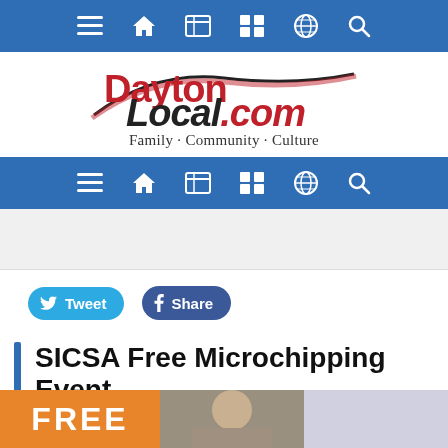[Figure (screenshot): Top navigation bar with hamburger menu, home, grid, calendar, globe, and search icons on blue background]
[Figure (logo): DaytonLocal.com logo with swoosh design in red and black]
Family · Community · Culture
[Figure (screenshot): Second navigation bar with same icons on blue background]
[Figure (other): Gray advertisement placeholder area]
Tweet
Share
SICSA Free Microchipping Event
[Figure (photo): Bottom strip showing FREE text in orange, two photo thumbnails partially visible]